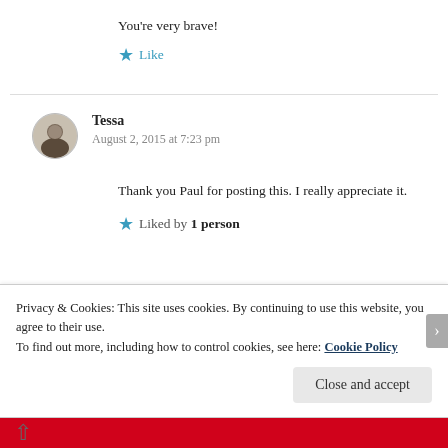You're very brave!
★ Like
Tessa
August 2, 2015 at 7:23 pm
Thank you Paul for posting this. I really appreciate it.
★ Liked by 1 person
Privacy & Cookies: This site uses cookies. By continuing to use this website, you agree to their use.
To find out more, including how to control cookies, see here: Cookie Policy
Close and accept